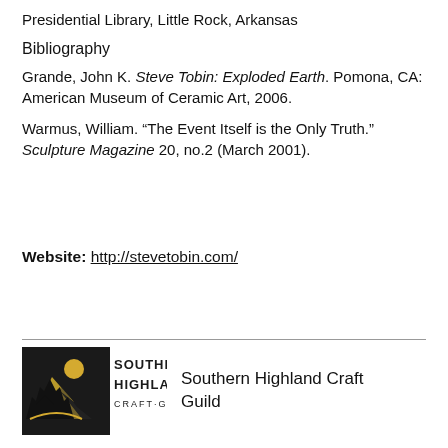White House Collection of American Craft, Clinton Presidential Library, Little Rock, Arkansas
Bibliography
Grande, John K. Steve Tobin: Exploded Earth. Pomona, CA: American Museum of Ceramic Art, 2006.
Warmus, William. “The Event Itself is the Only Truth.” Sculpture Magazine 20, no.2 (March 2001).
Website: http://stevetobin.com/
[Figure (logo): Southern Highland Craft Guild logo with mountain/tree scene in gold and black]
Southern Highland Craft Guild